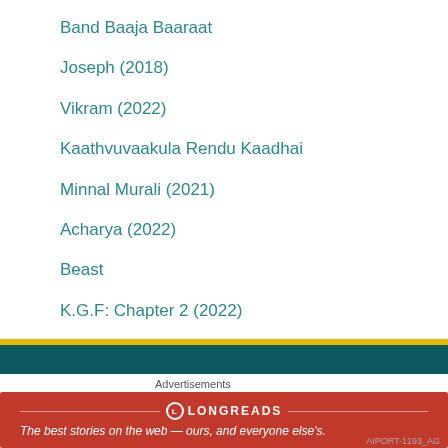Band Baaja Baaraat
Joseph (2018)
Vikram (2022)
Kaathvuvaakula Rendu Kaadhai
Minnal Murali (2021)
Acharya (2022)
Beast
K.G.F: Chapter 2 (2022)
Recent Comments
Heather Wilson on Operation Jackpot Nalli C.I.D....
[Figure (other): Advertisement banner: Longreads — The best stories on the web — ours, and everyone else's.]